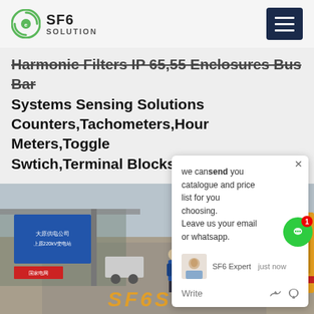SF6 SOLUTION
Harmonic Filters IP 65,55 Enclosures Bus Bar Systems Sensing Solutions Counters,Tachometers,Hour Meters,Toggle Swtich,Terminal Blocks Eaton
[Figure (photo): Outdoor industrial scene showing a yellow delivery truck parked near an electrical substation gate. A worker in blue is near the truck. A blue sign in Chinese characters reads power company/substation. Overcast sky background.]
we can send you catalogue and price list for you choosing. Leave us your email or whatsapp.
SF6 Expert  just now
Write